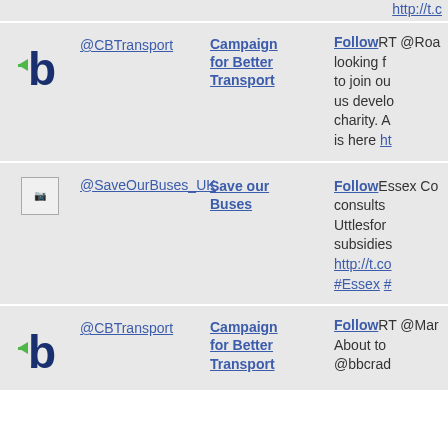http://t.c...
[Figure (logo): CBTransport blue 'b' logo with green arrow]
@CBTransport
Campaign for Better Transport
Follow
RT @Roa... looking f... to join ou... us develo... charity. A... is here ht...
[Figure (photo): Broken image placeholder]
@SaveOurBuses_UK
Save our Buses
Follow
Essex Co... consults ... Uttlesfor... subsidies... http://t.co... #Essex #...
[Figure (logo): CBTransport blue 'b' logo with green arrow]
@CBTransport
Campaign for Better Transport
Follow
RT @Man... About to ... @bbcrad...